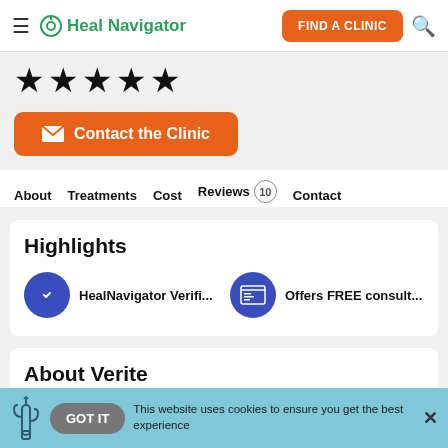Heal Navigator — FIND A CLINIC
[Figure (illustration): Five black star rating icons]
[Figure (illustration): Orange button with envelope icon: Contact the Clinic]
About   Treatments   Cost   Reviews 10   Contact
Highlights
HealNavigator Verifi...
Offers FREE consult...
About Verite
This website uses cookies to ensure you get the best experience